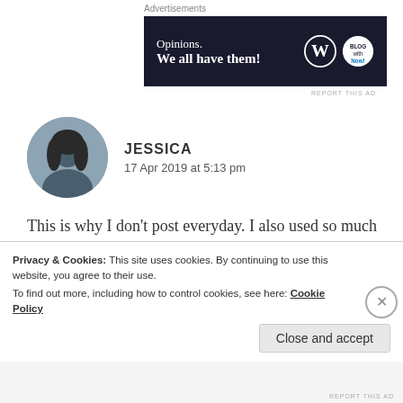Advertisements
[Figure (other): Advertisement banner with dark navy background reading 'Opinions. We all have them!' with WordPress and blog-related logos on the right.]
REPORT THIS AD
JESSICA
17 Apr 2019 at 5:13 pm
This is why I don't post everyday. I also used so much time to schedule my post so that I can enjoy more time outside blogging world. Also, it's always better to read the whole post and present my genuine comments, rather than half hearted ones
Privacy & Cookies: This site uses cookies. By continuing to use this website, you agree to their use.
To find out more, including how to control cookies, see here: Cookie Policy
Close and accept